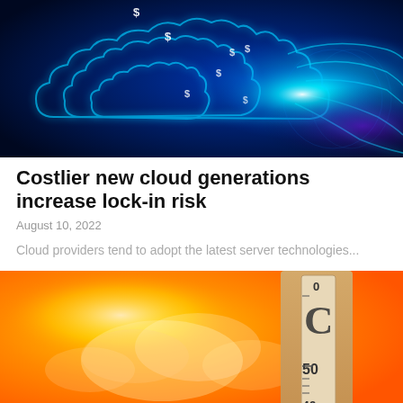[Figure (photo): Digital cloud illustration with glowing blue neon lines and dollar signs on a dark blue background, suggesting cloud computing and financial cost]
Costlier new cloud generations increase lock-in risk
August 10, 2022
Cloud providers tend to adopt the latest server technologies...
[Figure (photo): Hot weather photo showing an orange-yellow sky with clouds and a wooden thermometer showing Celsius scale near 50 degrees, suggesting extreme heat]